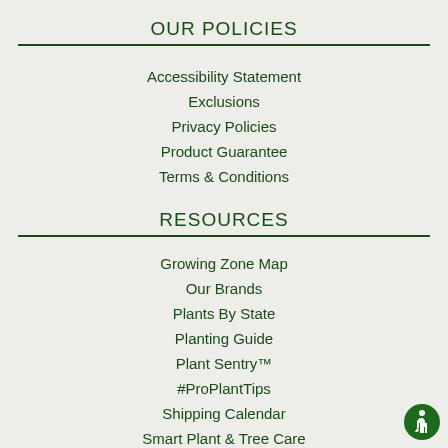OUR POLICIES
Accessibility Statement
Exclusions
Privacy Policies
Product Guarantee
Terms & Conditions
RESOURCES
Growing Zone Map
Our Brands
Plants By State
Planting Guide
Plant Sentry™
#ProPlantTips
Shipping Calendar
Smart Plant & Tree Care
[Figure (illustration): Accessibility icon - white wheelchair symbol on green circle]